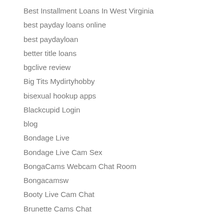Best Installment Loans In West Virginia
best payday loans online
best paydayloan
better title loans
bgclive review
Big Tits Mydirtyhobby
bisexual hookup apps
Blackcupid Login
blog
Bondage Live
Bondage Live Cam Sex
BongaCams Webcam Chat Room
Bongacamsw
Booty Live Cam Chat
Brunette Cams Chat